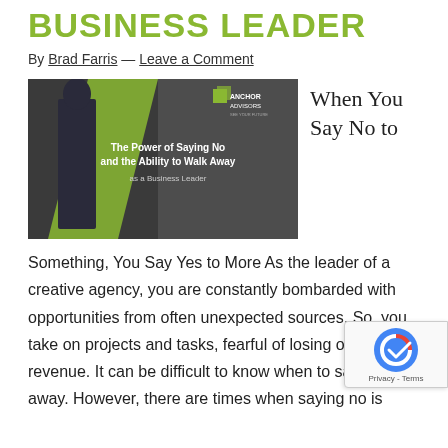BUSINESS LEADER
By Brad Farris — Leave a Comment
[Figure (photo): Anchor Advisors branded image featuring a person in a suit walking away, with a yellow-green diagonal graphic element. Text overlay reads: 'The Power of Saying No and the Ability to Walk Away as a Business Leader']
When You Say No to
Something, You Say Yes to More As the leader of a creative agency, you are constantly bombarded with opportunities from often unexpected sources. So, you take on projects and tasks, fearful of losing out on revenue. It can be difficult to know when to say no walk away. However, there are times when saying no is